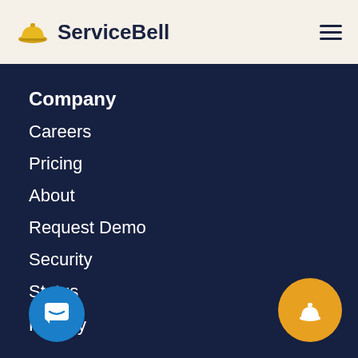ServiceBell
Company
Careers
Pricing
About
Request Demo
Security
Status
Privacy